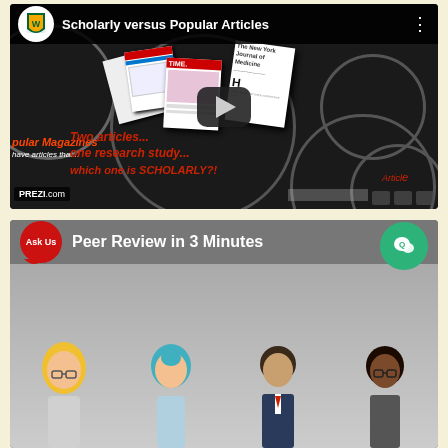[Figure (screenshot): YouTube video thumbnail for 'Scholarly versus Popular Articles' showing a Prezi presentation with magazine and journal article images, circles on dark background, play button in center, red italic text 'Two articles... one research study... which one is SCHOLARLY?!', Wayne State University logo top left]
[Figure (screenshot): YouTube video thumbnail for 'Peer Review in 3 Minutes' showing Ask Us library logo on left, green chat bubble badge on right, animated avatar figures of people at bottom on gray background]